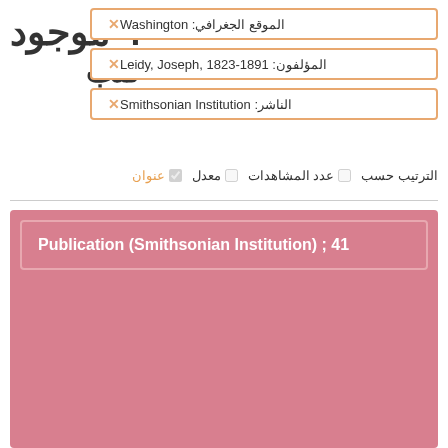موجود 4 كتب
الموقع الجغرافي: Washington
المؤلفون: Leidy, Joseph, 1823-1891
الناشر: Smithsonian Institution
الترتيب حسب  عدد المشاهدات  معدل  عنوان
Publication (Smithsonian Institution) ; 41